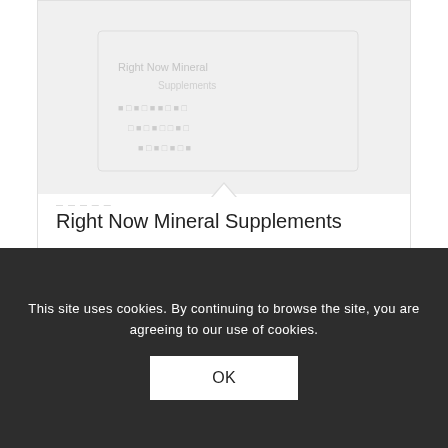[Figure (photo): Product image area for Right Now Mineral Supplements, shown as a light gray placeholder with faint text overlay]
Right Now Mineral Supplements
$29.95 – $44.95
Select options
This site uses cookies. By continuing to browse the site, you are agreeing to our use of cookies.
OK